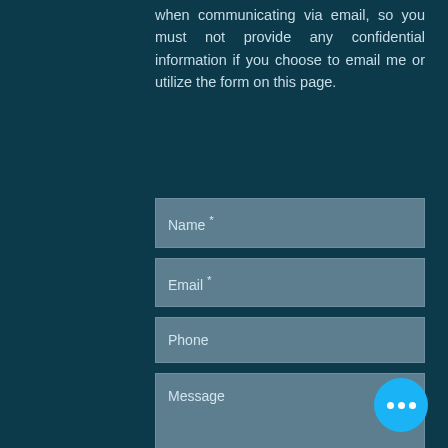when communicating via email, so you must not provide any confidential information if you choose to email me or utilize the form on this page.
[Figure (screenshot): A contact form with fields: Name (required), Email (required), Phone, and Message on a dark teal background with a blue chat button in the bottom right.]